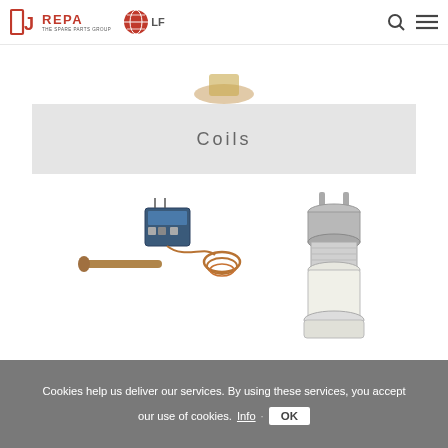REPA The Spare Parts Group — LF logo, search icon, menu icon
[Figure (photo): Partial view of a thermostat or spare part product at top of page]
Coils
[Figure (photo): Thermostat coil/capillary thermostat component with control box, long probe and copper coil]
[Figure (photo): Coil/solenoid valve component, metallic cylindrical part with prongs on top]
Cookies help us deliver our services. By using these services, you accept our use of cookies. Info · OK